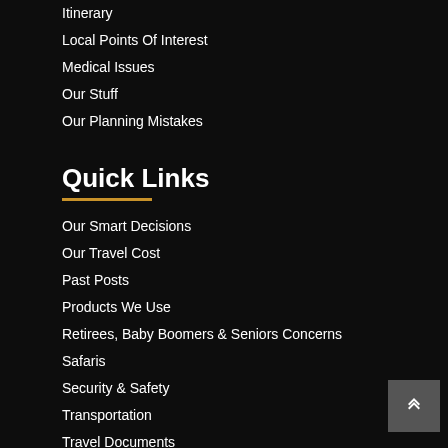Itinerary
Local Points Of Interest
Medical Issues
Our Stuff
Our Planning Mistakes
Quick Links
Our Smart Decisions
Our Travel Cost
Past Posts
Products We Use
Retirees, Baby Boomers & Seniors Concerns
Safaris
Security & Safety
Transportation
Travel Documents
Vacation Homes